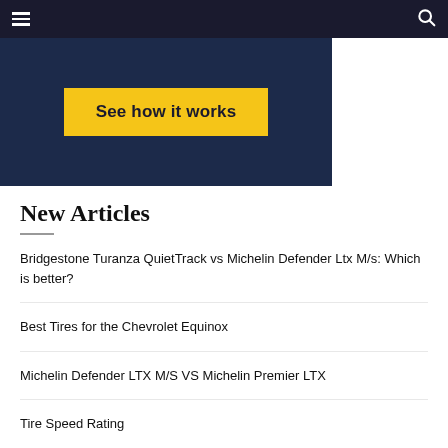Navigation bar with hamburger menu and search icon
[Figure (screenshot): Dark navy blue banner with yellow 'See how it works' button]
New Articles
Bridgestone Turanza QuietTrack vs Michelin Defender Ltx M/s: Which is better?
Best Tires for the Chevrolet Equinox
Michelin Defender LTX M/S VS Michelin Premier LTX
Tire Speed Rating